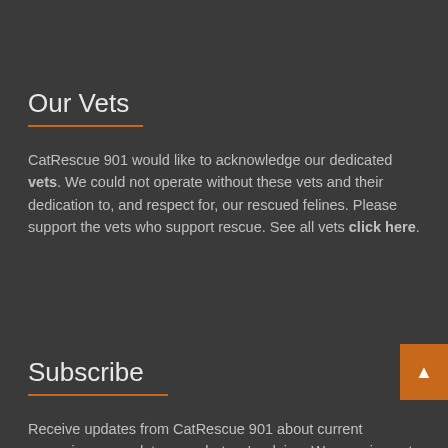Our Vets
CatRescue 901 would like to acknowledge our dedicated vets. We could not operate without these vets and their dedication to, and respect for, our rescued felines. Please support the vets who support rescue. See all vets click here.
Subscribe
Receive updates from CatRescue 901 about current campaigns or updates on what we're doing. We promise not to be bothersome and will only send a newsletter when we have something important to say.